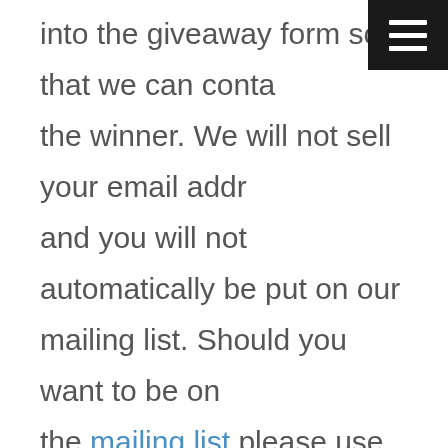into the giveaway form so that we can contact the winner. We will not sell your email address and you will not automatically be put on our mailing list. Should you want to be on the mailing list please use the link here to join us.